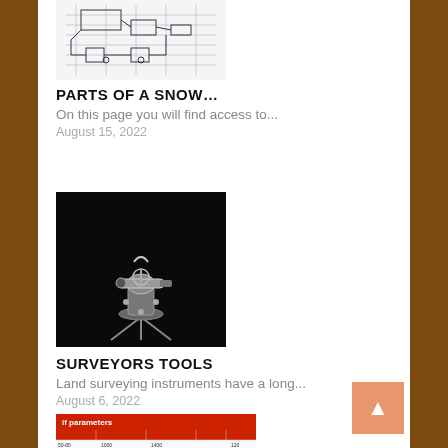[Figure (schematic): Engineering schematic/blueprint drawing of a snow-related device, shown at top of page]
PARTS OF A SNOW…
On this page you will find access to...
August 15, 2022
[Figure (photo): Photo of a vintage surveying instrument (theodolite) on a black background]
SURVEYORS TOOLS
Land surveying instruments have a long...
August 6, 2022
[Figure (table-as-image): Partial view of a parameters table with red header row and data rows, partially cut off at bottom of page]